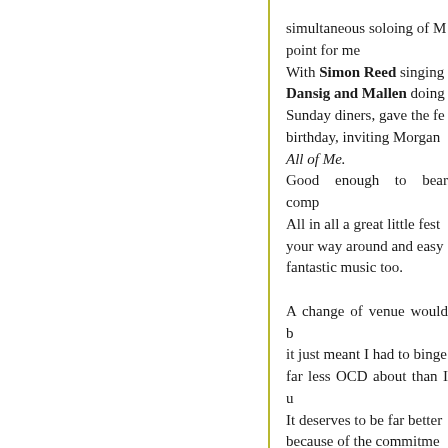simultaneous soloing of M... point for me With Simon Reed singing Dansig and Mallen doing Sunday diners, gave the fe... birthday, inviting Morgan All of Me. Good enough to bear comp... All in all a great little fest... your way around and easy fantastic music too. A change of venue would b... it just meant I had to binge far less OCD about than I u... It deserves to be far better because of the commitme... who seems to do the whol... looked after us throughout Steve Tulip.